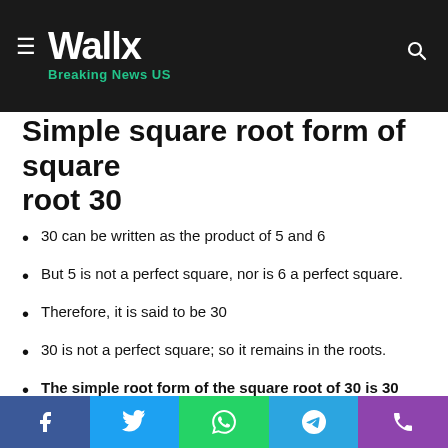Wallx — Breaking News US
Simple square root form of square root 30
30 can be written as the product of 5 and 6
But 5 is not a perfect square, nor is 6 a perfect square.
Therefore, it is said to be 30
30 is not a perfect square; so it remains in the roots.
The simple root form of the square root of 30 is 30
Square root of 30 equals Long Division
Let us understand the process of finding the square root of 30
Facebook | Twitter | WhatsApp | Telegram | Phone